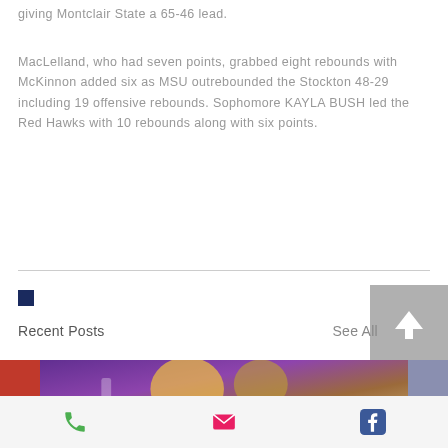giving Montclair State a 65-46 lead.
MacLelland, who had seven points, grabbed eight rebounds with McKinnon added six as MSU outrebounded the Stockton 48-29 including 19 offensive rebounds. Sophomore KAYLA BUSH led the Red Hawks with 10 rebounds along with six points.
Recent Posts
See All
[Figure (photo): Thumbnail images row with red, sports action photo, and blue-grey placeholder tiles]
Phone | Email | Facebook icons